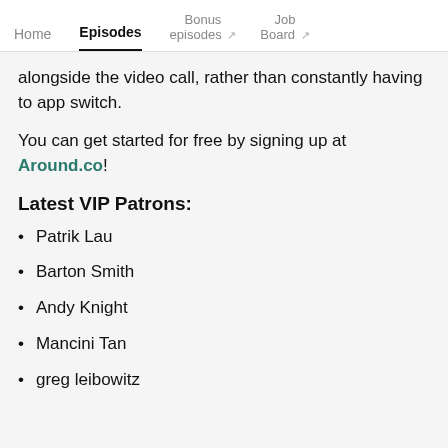Home | Episodes | Bonus episodes | Job Board
alongside the video call, rather than constantly having to app switch.
You can get started for free by signing up at Around.co!
Latest VIP Patrons:
Patrik Lau
Barton Smith
Andy Knight
Mancini Tan
greg leibowitz